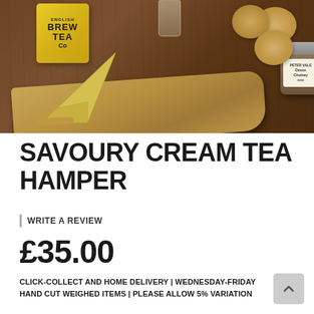[Figure (photo): Product photo showing a wooden cheese board with a wedge of yellow cheese, a jar of Devon Chutney, scones, and a yellow Brew Tea Co box on a rustic wooden surface.]
SAVOURY CREAM TEA HAMPER
WRITE A REVIEW
£35.00
CLICK-COLLECT AND HOME DELIVERY | WEDNESDAY-FRIDAY HAND CUT WEIGHED ITEMS | PLEASE ALLOW 5% VARIATION